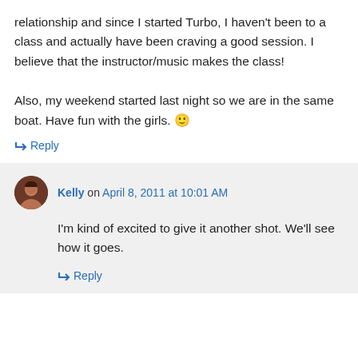relationship and since I started Turbo, I haven't been to a class and actually have been craving a good session. I believe that the instructor/music makes the class!

Also, my weekend started last night so we are in the same boat. Have fun with the girls. 🙂
↳ Reply
Kelly on April 8, 2011 at 10:01 AM
I'm kind of excited to give it another shot. We'll see how it goes.
↳ Reply